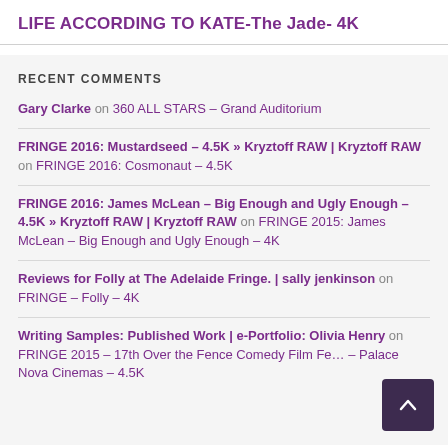LIFE ACCORDING TO KATE-The Jade- 4K
RECENT COMMENTS
Gary Clarke on 360 ALL STARS – Grand Auditorium
FRINGE 2016: Mustardseed – 4.5K » Kryztoff RAW | Kryztoff RAW on FRINGE 2016: Cosmonaut – 4.5K
FRINGE 2016: James McLean – Big Enough and Ugly Enough – 4.5K » Kryztoff RAW | Kryztoff RAW on FRINGE 2015: James McLean – Big Enough and Ugly Enough – 4K
Reviews for Folly at The Adelaide Fringe. | sally jenkinson on FRINGE – Folly – 4K
Writing Samples: Published Work | e-Portfolio: Olivia Henry on FRINGE 2015 – 17th Over the Fence Comedy Film Fe… – Palace Nova Cinemas – 4.5K